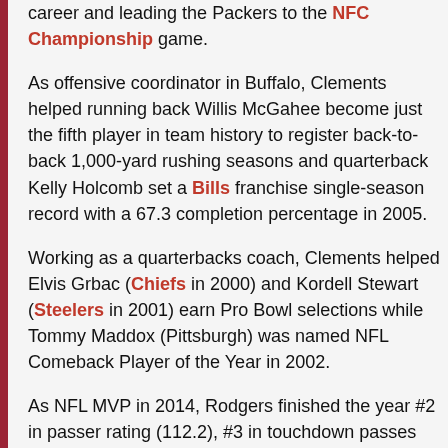career and leading the Packers to the NFC Championship game.
As offensive coordinator in Buffalo, Clements helped running back Willis McGahee become just the fifth player in team history to register back-to-back 1,000-yard rushing seasons and quarterback Kelly Holcomb set a Bills franchise single-season record with a 67.3 completion percentage in 2005.
Working as a quarterbacks coach, Clements helped Elvis Grbac (Chiefs in 2000) and Kordell Stewart (Steelers in 2001) earn Pro Bowl selections while Tommy Maddox (Pittsburgh) was named NFL Comeback Player of the Year in 2002.
As NFL MVP in 2014, Rodgers finished the year #2 in passer rating (112.2), #3 in touchdown passes (38) and had 13 games without an INT, the third-